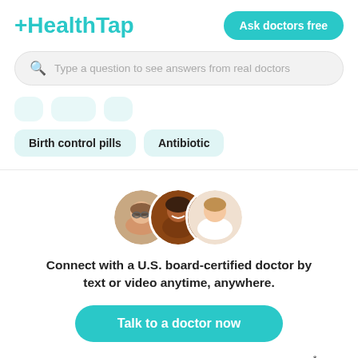[Figure (logo): HealthTap logo in teal color with a plus sign prefix]
Ask doctors free
Type a question to see answers from real doctors
Birth control pills
Antibiotic
[Figure (photo): Three circular doctor profile photos overlapping: a man with glasses, a woman smiling, and a woman in white coat]
Connect with a U.S. board-certified doctor by text or video anytime, anywhere.
Talk to a doctor now
$39 video appointments with $15/month membership*